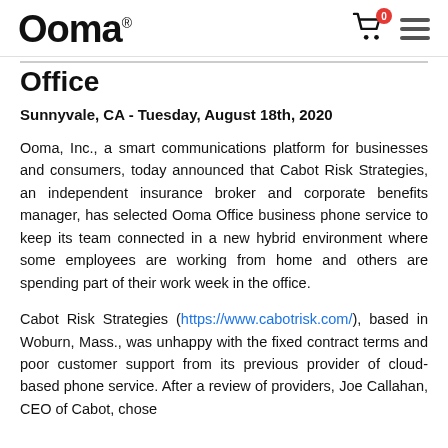Ooma
Office
Sunnyvale, CA - Tuesday, August 18th, 2020
Ooma, Inc., a smart communications platform for businesses and consumers, today announced that Cabot Risk Strategies, an independent insurance broker and corporate benefits manager, has selected Ooma Office business phone service to keep its team connected in a new hybrid environment where some employees are working from home and others are spending part of their work week in the office.
Cabot Risk Strategies (https://www.cabotrisk.com/), based in Woburn, Mass., was unhappy with the fixed contract terms and poor customer support from its previous provider of cloud-based phone service. After a review of providers, Joe Callahan, CEO of Cabot, chose